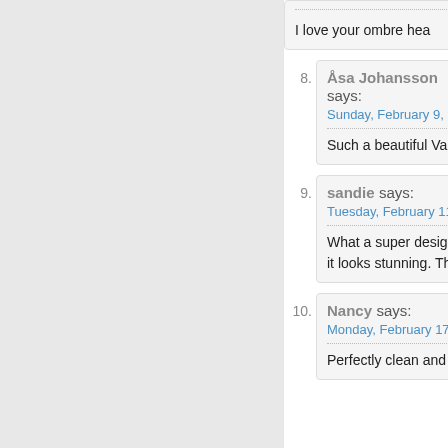I love your ombre hea
8. Åsa Johansson says: Sunday, February 9, 2... Such a beautiful Vale
9. sandie says: Tuesday, February 11... What a super design. it looks stunning. Tha
10. Nancy says: Monday, February 17,... Perfectly clean and si